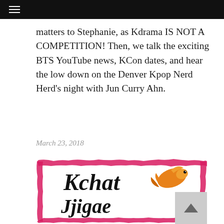≡
matters to Stephanie, as Kdrama IS NOT A COMPETITION! Then, we talk the exciting BTS YouTube news, KCon dates, and hear the low down on the Denver Kpop Nerd Herd's night with Jun Curry Ahn.
March 23, 2018
[Figure (illustration): Kchat Jjigae podcast logo: script text 'Kchat Jjigae' in black italic on a white background with a pink/magenta rough-edged decorative border frame, and a goldfish illustration in the upper right area of the logo.]